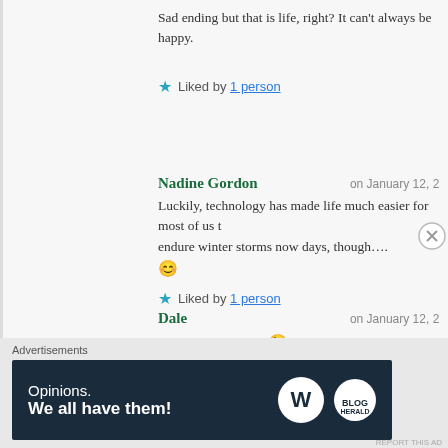Sad ending but that is life, right? It can't always be happy.
★ Liked by 1 person
Nadine Gordon    on January 12, 20...
Luckily, technology has made life much easier for most of us to endure winter storms now days, though.... 😊
★ Liked by 1 person
Dale    on January 12, 20...
Well yes, of course. 😉
★ Liked by 1 person
Advertisements
[Figure (infographic): Dark navy advertisement banner reading 'Opinions. We all have them!' with WordPress logo and another circular logo on the right.]